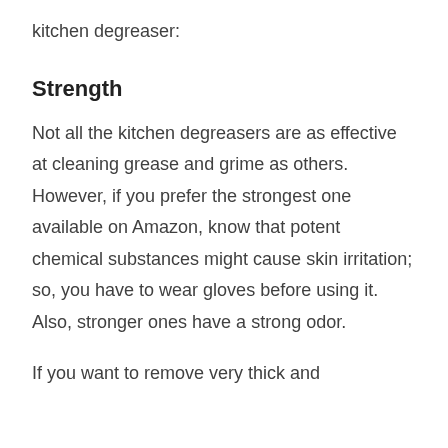kitchen degreaser:
Strength
Not all the kitchen degreasers are as effective at cleaning grease and grime as others. However, if you prefer the strongest one available on Amazon, know that potent chemical substances might cause skin irritation; so, you have to wear gloves before using it. Also, stronger ones have a strong odor.
If you want to remove very thick and